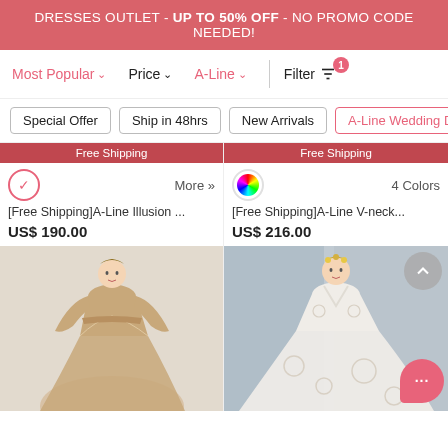DRESSES OUTLET - UP TO 50% OFF - NO PROMO CODE NEEDED!
Most Popular  Price  A-Line  Filter
Special Offer
Ship in 48hrs
New Arrivals
A-Line Wedding Dre
Free Shipping
More »
[Free Shipping]A-Line Illusion ...
US$ 190.00
Free Shipping
4 Colors
[Free Shipping]A-Line V-neck...
US$ 216.00
[Figure (photo): A woman wearing a champagne/gold A-Line lace dress with long sleeves and flowing train]
[Figure (photo): A woman wearing an ivory/white A-Line V-neck wedding dress with floral lace appliques]